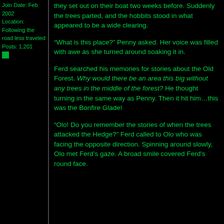Join Date: Feb 2002
Location: Following the road less traveled
Posts: 1,201
they set out on their boat two weeks before. Suddenly the trees parted, and the hobbits stood in what appeared to be a wide clearing.
“What is this place?” Penny asked. Her voice was filled with awe as she turned around soaking it in.
Ferd searched his memories for stories about the Old Forest. Why would there be an area this big without any trees in the middle of the forest? He thought turning in the same way as Penny. Then it hit him…this was the Bonfire Glade!
“Olo! Do you remember the stories of when the trees attacked the Hedge?” Ferd called to Olo who was facing the opposite direction. Spinning around slowly, Olo met Ferd’s gaze. A broad smile covered Ferd's round face.